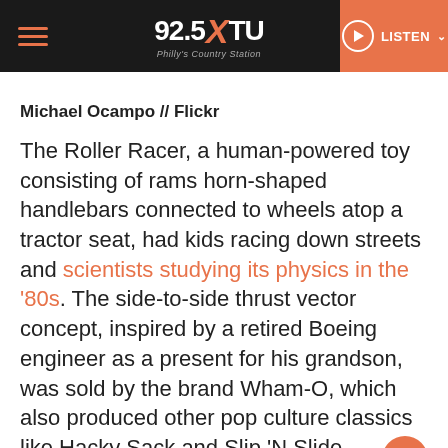92.5 XTU Philly's Country Station — LISTEN
Michael Ocampo // Flickr
The Roller Racer, a human-powered toy consisting of rams horn-shaped handlebars connected to wheels atop a tractor seat, had kids racing down streets and scientists studying its physics in the '80s. The side-to-side thrust vector concept, inspired by a retired Boeing engineer as a present for his grandson, was sold by the brand Wham-O, which also produced other pop culture classics like Hacky Sack and Slip 'N Slide. Decades later, Roller Racers remain a hit with